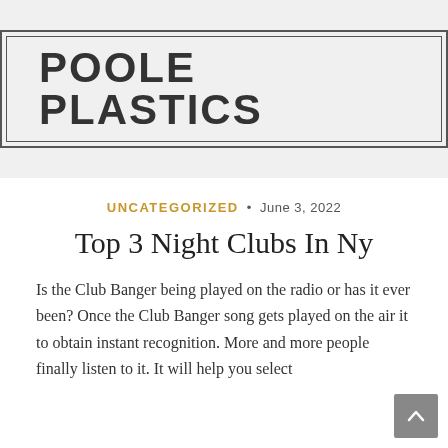POOLE PLASTICS
UNCATEGORIZED • June 3, 2022
Top 3 Night Clubs In Ny
Is the Club Banger being played on the radio or has it ever been? Once the Club Banger song gets played on the air it to obtain instant recognition. More and more people finally listen to it. It will help you select